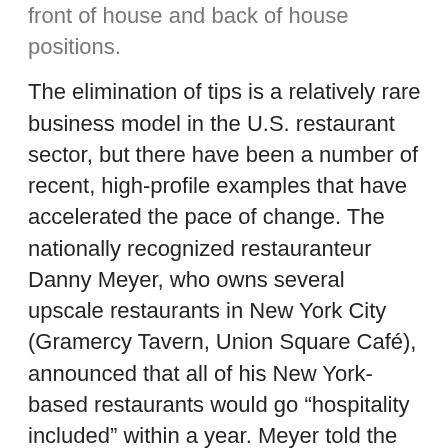front of house and back of house positions.
The elimination of tips is a relatively rare business model in the U.S. restaurant sector, but there have been a number of recent, high-profile examples that have accelerated the pace of change. The nationally recognized restauranteur Danny Meyer, who owns several upscale restaurants in New York City (Gramercy Tavern, Union Square Café), announced that all of his New York-based restaurants would go “hospitality included” within a year. Meyer told the New York Times that he specifically cited the need to rebalance the pay scale for kitchen staff after the recent increase in minimum wage for restaurant workers in New York.
Some interview respondents in San Francisco gave unprompted support for this compensation model. Said the manager of multiple fine-dining restaurants in the city: